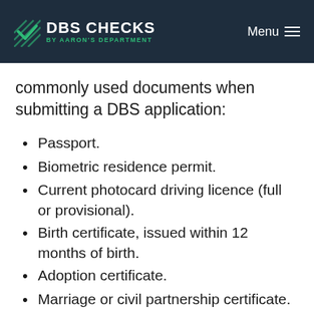DBS CHECKS BY AARON'S DEPARTMENT | Menu
commonly used documents when submitting a DBS application:
Passport.
Biometric residence permit.
Current photocard driving licence (full or provisional).
Birth certificate, issued within 12 months of birth.
Adoption certificate.
Marriage or civil partnership certificate.
Immigration document, visa or work